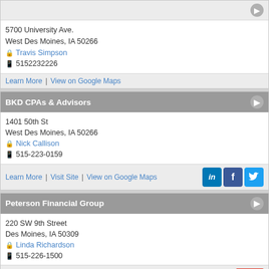5700 University Ave.
West Des Moines, IA 50266
Travis Simpson
5152232226
Learn More | View on Google Maps
BKD CPAs & Advisors
1401 50th St
West Des Moines, IA 50266
Nick Callison
515-223-0159
Learn More | Visit Site | View on Google Maps
Peterson Financial Group
220 SW 9th Street
Des Moines, IA 50309
Linda Richardson
515-226-1500
Learn More | Visit Site | View on Google Maps
Ketelsen Davis Agency Inc
666 Walnut St
Des Moines, IA 50309
Janel Ketelsen Davis